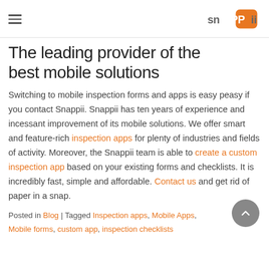Snappii — navigation header with hamburger menu and logo
The leading provider of the best mobile solutions
Switching to mobile inspection forms and apps is easy peasy if you contact Snappii. Snappii has ten years of experience and incessant improvement of its mobile solutions. We offer smart and feature-rich inspection apps for plenty of industries and fields of activity. Moreover, the Snappii team is able to create a custom inspection app based on your existing forms and checklists. It is incredibly fast, simple and affordable. Contact us and get rid of paper in a snap.
Posted in Blog | Tagged Inspection apps, Mobile Apps, Mobile forms, custom app, inspection checklists